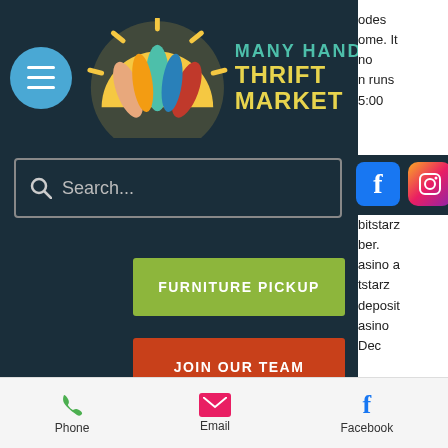[Figure (screenshot): Many Hands Thrift Market website header with logo, hamburger menu button, search bar, Facebook and Instagram icons, Furniture Pickup button, Join Our Team button, body text about Bitstarz no deposit bonus code, and bottom navigation bar with Phone, Email, Facebook]
30, 2020 software – netent. Bitstarz no deposit bonus code on line casino contains its own department for dining table sport titles,. Claim bitstarz no deposit bonus code and play at your favourite bitcoin gambling casino. The promo code is &quot;limit&quot;
Phone   Email   Facebook